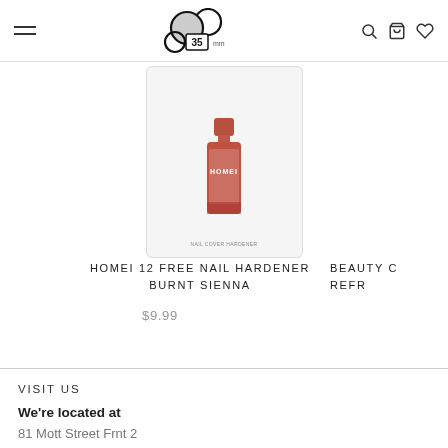35mm store header with hamburger menu, logo, search, cart, and wishlist icons
[Figure (photo): HOMEI nail polish bottle in burnt sienna color with label reading NAIL COVER HARDENER, inside a white card-style product box]
HOMEI 12 FREE NAIL HARDENER BURNT SIENNA
$9.99
BEAUTY C... REFR...
VISIT US
We're located at
81 Mott Street Frnt 2
New York, NY 10013